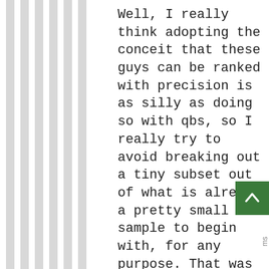Well, I really think adopting the conceit that these guys can be ranked with precision is as silly as doing so with qbs, so I really try to avoid breaking out a tiny subset out of what is already a pretty small sample to begin with, for any purpose. That was really my point.
Belichik has been and is great, and may well be the best ever. But if we could run 50,000 game experiments, that didn't pollute what we were trying to observe, it wouldn't surprise me that somebody else came out on